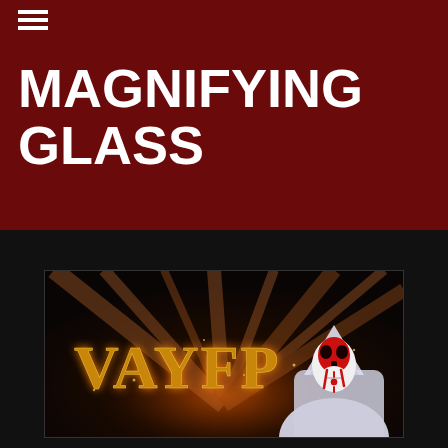[Figure (logo): Hamburger menu icon — three horizontal white lines stacked vertically in top-left corner]
MAGNIFYING GLASS
[Figure (illustration): Game banner image for 'VAYFOR' showing a hooded figure wearing a red and white skull mask, with golden stylized text 'VAYFOR' on a dark smoky background with orange light rays]